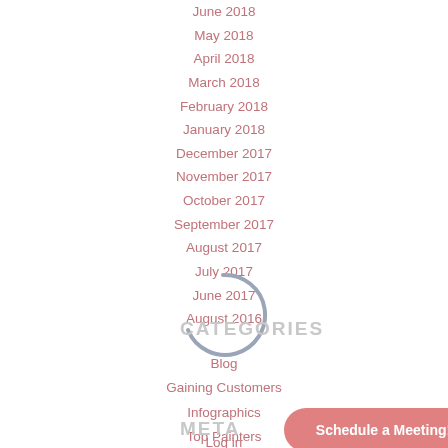June 2018
May 2018
April 2018
March 2018
February 2018
January 2018
December 2017
November 2017
October 2017
September 2017
August 2017
July 2017
June 2017
August 2016
CATEGORIES
Blog
Gaining Customers
Infographics
Top Painters
Uncategorized
META
Schedule a Meeting!
Log in